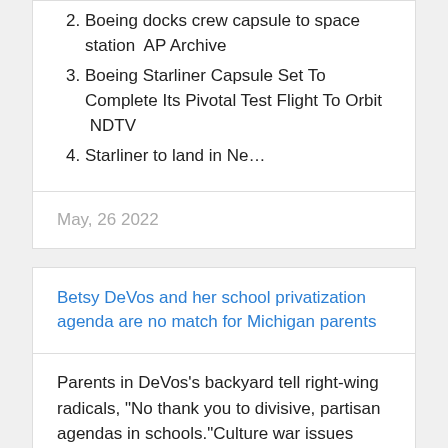2. Boeing docks crew capsule to space station  AP Archive
3. Boeing Starliner Capsule Set To Complete Its Pivotal Test Flight To Orbit  NDTV
4. Starliner to land in Ne...
May, 26 2022
Betsy DeVos and her school privatization agenda are no match for Michigan parents
Parents in DeVos's backyard tell right-wing radicals, “No thank you to divisive, partisan agendas in schools.”Culture war issues dressed as serious K-12 classroom concerns, such as trumped-up battles over critical race theory and gender identity, have